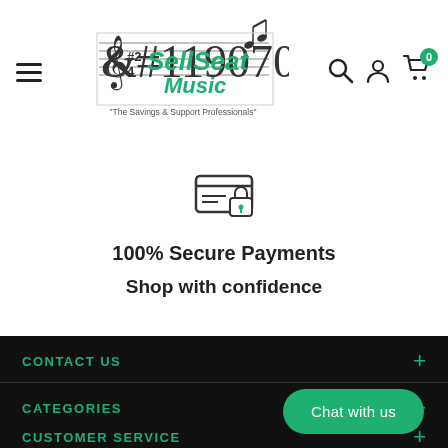[Figure (screenshot): SellSeat Music website header with hamburger menu, logo, search icon, account icon, and cart icon with 0 badge]
[Figure (illustration): Secure payment icon: credit card with a lock symbol]
100% Secure Payments
Shop with confidence
CONTACT US
CATEGORIES
CUSTOMER SERVICE
Chat with us